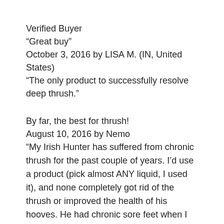Verified Buyer
“Great buy”
October 3, 2016 by LISA M. (IN, United States)
“The only product to successfully resolve deep thrush.”
By far, the best for thrush!
August 10, 2016 by Nemo
“My Irish Hunter has suffered from chronic thrush for the past couple of years. I’d use a product (pick almost ANY liquid, I used it), and none completely got rid of the thrush or improved the health of his hooves. He had chronic sore feet when I rode him.
On Easter, my horse underwent colic surgery. It